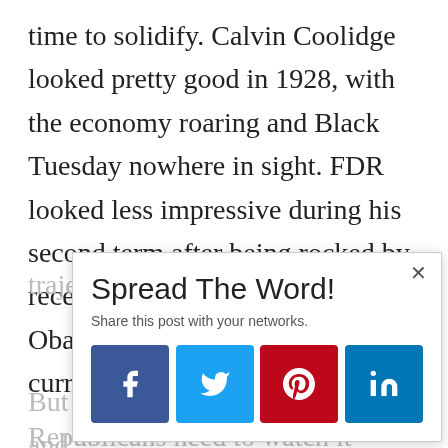time to solidify. Calvin Coolidge looked pretty good in 1928, with the economy roaring and Black Tuesday nowhere in sight. FDR looked less impressive during his second term after being rocked by recession. Bad surprises on Obama's watch could change the current trajectory.
But the current one is promising, and Republicans need to watch it carefully. If the center of gravity moves from under their feet, 2016 is going to be their 1988.
[Figure (screenshot): Social sharing popup overlay with title 'Spread The Word!', subtitle 'Share this post with your networks.', close button (×), and four share buttons: Facebook (blue), Twitter (light blue), Pinterest (red), LinkedIn (dark blue). Each button has a white icon.]